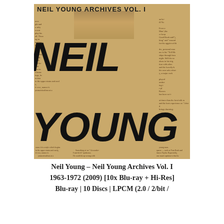[Figure (photo): Album cover for Neil Young Archives Vol. I — a sepia-toned collage of newspaper clippings with large bold black text spelling out 'NEIL YOUNG' overlaid on the newspaper background. The top reads 'NEIL YOUNG ARCHIVES VOL. I' in bold sans-serif letters. A faint photo strip shows a person's image behind the text.]
Neil Young – Neil Young Archives Vol. I
1963-1972 (2009) [10x Blu-ray + Hi-Res]
Blu-ray | 10 Discs | LPCM (2.0 / 2/bit /